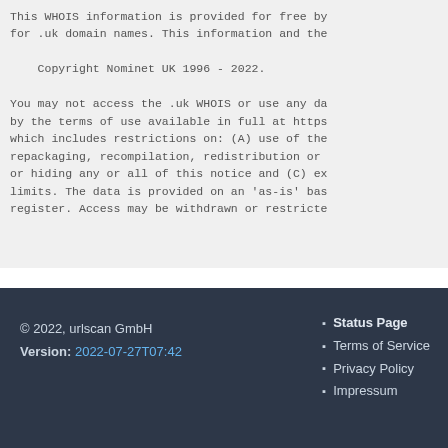This WHOIS information is provided for free by
for .uk domain names. This information and the

    Copyright Nominet UK 1996 - 2022.

You may not access the .uk WHOIS or use any da
by the terms of use available in full at https
which includes restrictions on: (A) use of the
repackaging, recompilation, redistribution or
or hiding any or all of this notice and (C) ex
limits. The data is provided on an 'as-is' bas
register. Access may be withdrawn or restricte
© 2022, urlscan GmbH
Version: 2022-07-27T07:42
• Status Page
• Terms of Service
• Privacy Policy
• Impressum